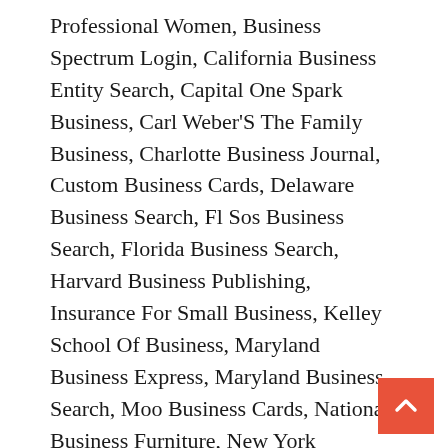Professional Women, Business Spectrum Login, California Business Entity Search, Capital One Spark Business, Carl Weber'S The Family Business, Charlotte Business Journal, Custom Business Cards, Delaware Business Search, Fl Sos Business Search, Florida Business Search, Harvard Business Publishing, Insurance For Small Business, Kelley School Of Business, Maryland Business Express, Maryland Business Search, Moo Business Cards, National Business Furniture, New York Business Search, Ohio Business Gateway, Onedrive For Business, Online Business Ideas, Paramore Misery Business, Risky Business Cast, Small Business Insurance, Spectrum Business Customer Service, Tom Cruise Risky Business, Us Small Business Administration, Verizon Wireless Business, Verizon Wireless Business Login,